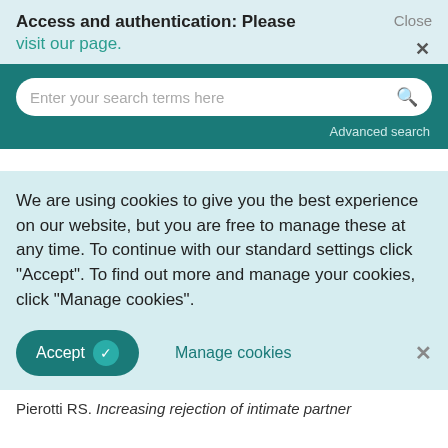Access and authentication: Please visit our page.
Close ×
Enter your search terms here
Advanced search
We are using cookies to give you the best experience on our website, but you are free to manage these at any time. To continue with our standard settings click "Accept". To find out more and manage your cookies, click "Manage cookies".
Accept
Manage cookies
×
Pierotti RS. Increasing rejection of intimate partner